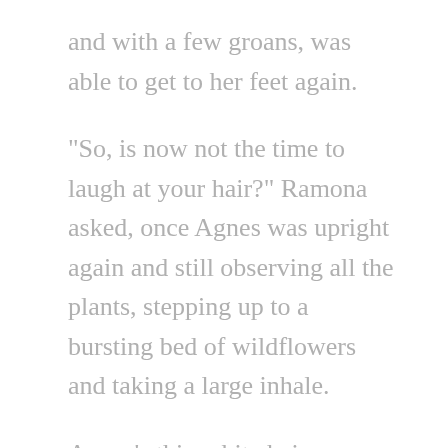and with a few groans, was able to get to her feet again.
“So, is now not the time to laugh at your hair?” Ramona asked, once Agnes was upright again and still observing all the plants, stepping up to a bursting bed of wildflowers and taking a large inhale.
Agnes’s thin white hair was totally disheveled, blown back and wispy from their Cycle-Bike ride. The pink tint to her pale white face was slowly returning as she invigorated herself with the green room. At Ramona’s comment,